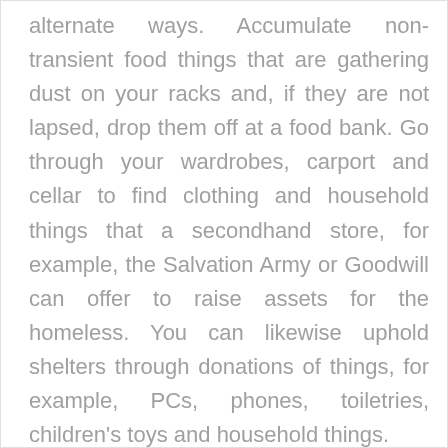alternate ways. Accumulate non-transient food things that are gathering dust on your racks and, if they are not lapsed, drop them off at a food bank. Go through your wardrobes, carport and cellar to find clothing and household things that a secondhand store, for example, the Salvation Army or Goodwill can offer to raise assets for the homeless. You can likewise uphold shelters through donations of things, for example, PCs, phones, toiletries, children's toys and household things.